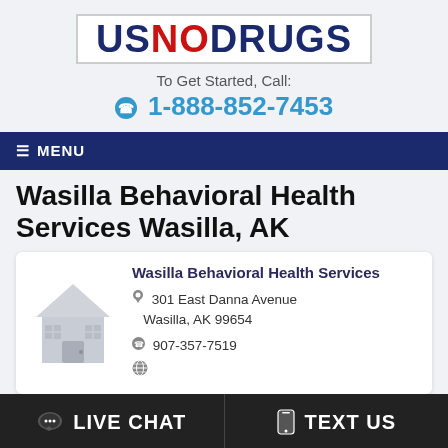[Figure (logo): USNODRUGS logo in a white box — US and DRUGS in navy blue, NO in red]
To Get Started, Call:
1-888-852-7453
≡ MENU
Wasilla Behavioral Health Services Wasilla, AK
[Figure (illustration): Grey house/home icon placeholder image]
Wasilla Behavioral Health Services
301 East Danna Avenue Wasilla, AK 99654
907-357-7519
Website icon (globe)
LIVE CHAT    TEXT US